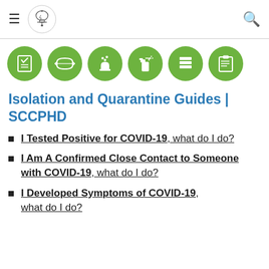[Figure (screenshot): Website navigation bar with hamburger menu icon, Liberty Bell logo circle, and search icon]
[Figure (infographic): Six green circular icons representing COVID-19 safety measures: checklist, face mask, hand washing, spray bottle/disinfectant, stacked papers/ventilation, clipboard checklist]
Isolation and Quarantine Guides | SCCPHD
I Tested Positive for COVID-19, what do I do?
I Am A Confirmed Close Contact to Someone with COVID-19, what do I do?
I Developed Symptoms of COVID-19, what do I do?